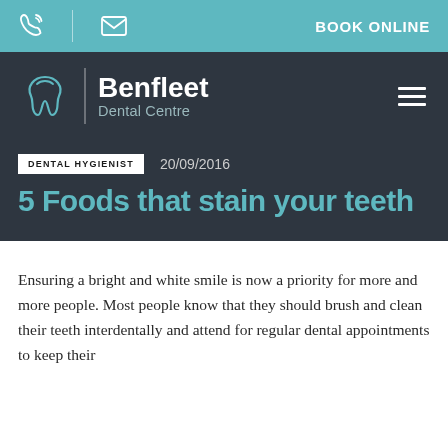BOOK ONLINE
[Figure (logo): Benfleet Dental Centre logo with tooth icon and text]
DENTAL HYGIENIST  20/09/2016
5 Foods that stain your teeth
Ensuring a bright and white smile is now a priority for more and more people. Most people know that they should brush and clean their teeth interdentally and attend for regular dental appointments to keep their